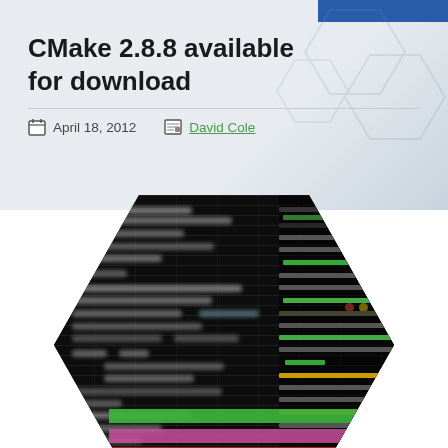CMake 2.8.8 available for download
April 18, 2012
David Cole
[Figure (screenshot): Hexagon-clipped screenshot of a dark terminal/IDE showing blurry code and a colorful git diff panel with green, pink, and red rows, and traffic-light dots (red, yellow, green).]